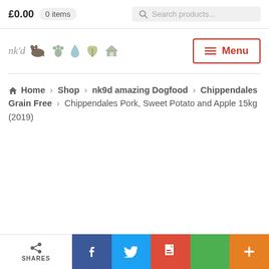£0.00  0 items   Search products...
[Figure (logo): nk'd pet food logo with icons of animals and nature]
SHARES  [social share buttons: Facebook, Twitter, Google+, Pinterest, More]